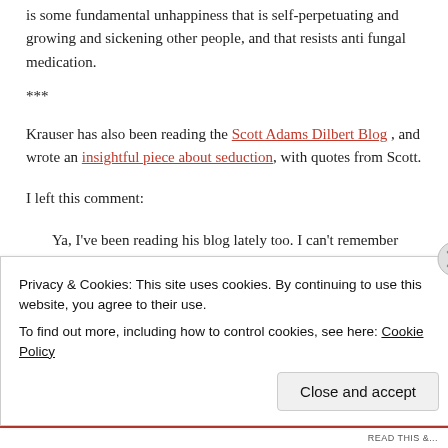is some fundamental unhappiness that is self-perpetuating and growing and sickening other people, and that resists anti fungal medication.
***
Krauser has also been reading the Scott Adams Dilbert Blog , and wrote an insightful piece about seduction, with quotes from Scott.
I left this comment:
Ya, I've been reading his blog lately too. I can't remember how I stumbled on it. Scott Adams tweeted
Privacy & Cookies: This site uses cookies. By continuing to use this website, you agree to their use.
To find out more, including how to control cookies, see here: Cookie Policy
Close and accept